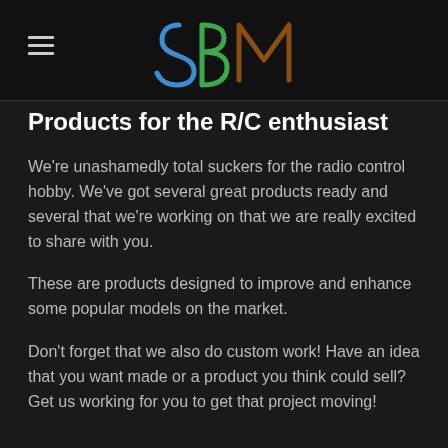[Figure (logo): SBM stylized logo with S in blue, B in green, M in brown/orange on black background]
Products for the R/C enthusiast
We're unashamedly total suckers for the radio control hobby.  We've got several great products ready and several that we're working on that we are really excited to share with you.
These are products designed to improve and enhance some popular models on the market.
Don't forget that we also do custom work!  Have an idea that you want made or a product you think could sell?  Get us working for you to get that project moving!